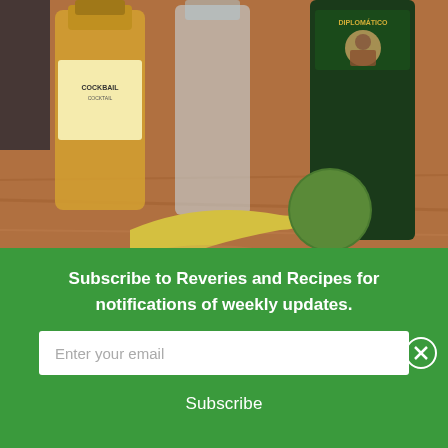[Figure (photo): Photo of liquor bottles (including Diplomático rum and Cockbar bottle), a banana, and a lime/avocado on a wooden table surface.]
Ingredients:
2 oz ...
Subscribe to Reveries and Recipes for notifications of weekly updates.
Enter your email
Subscribe